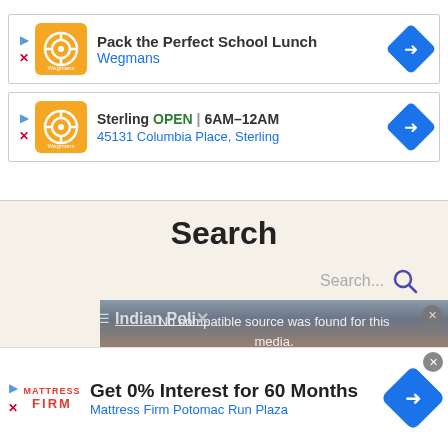[Figure (screenshot): Wegmans ad card: Pack the Perfect School Lunch]
[Figure (screenshot): Wegmans Sterling location ad: OPEN 6AM-12AM, 45131 Columbia Place, Sterling]
Search
Search...
[Figure (screenshot): Media player overlay showing 'No compatible source was found for this media.' with Archives and Indian Policy text visible]
[Figure (screenshot): Bottom banner ad: Mattress Firm - Get 0% Interest for 60 Months, Mattress Firm Potomac Run Plaza]